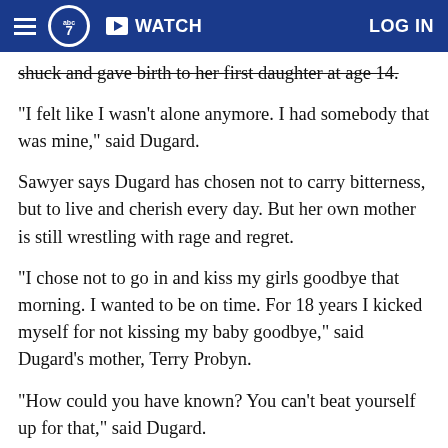ABC7 | WATCH | LOG IN
shuck and gave birth to her first daughter at age 14.
"I felt like I wasn't alone anymore. I had somebody that was mine," said Dugard.
Sawyer says Dugard has chosen not to carry bitterness, but to live and cherish every day. But her own mother is still wrestling with rage and regret.
"I chose not to go in and kiss my girls goodbye that morning. I wanted to be on time. For 18 years I kicked myself for not kissing my baby goodbye," said Dugard's mother, Terry Probyn.
"How could you have known? You can't beat yourself up for that," said Dugard.
Next, on Good Morning America: an interview with...